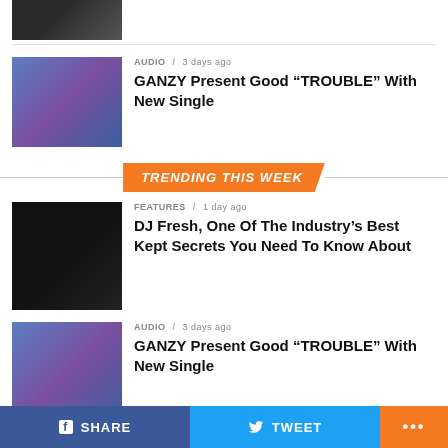[Figure (photo): Partial top image of a person, cropped]
[Figure (photo): GANZY artist photo with blue/purple background]
AUDIO / 3 days ago
GANZY Present Good “TROUBLE” With New Single
TRENDING THIS WEEK
[Figure (photo): DJ Fresh photo in dark background wearing Memphis jersey]
FEATURES / 1 day ago
DJ Fresh, One Of The Industry’s Best Kept Secrets You Need To Know About
[Figure (photo): GANZY artist photo with blue/purple background second instance]
AUDIO / 3 days ago
GANZY Present Good “TROUBLE” With New Single
[Figure (photo): Morray article thumbnail]
AUDIO / 4 days ago
Morray Describes His Rise From the
f SHARE   🐦 TWEET   •••